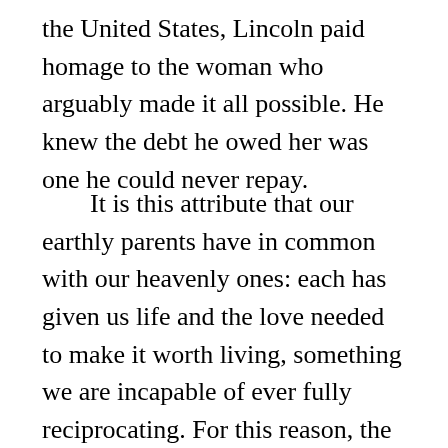the United States, Lincoln paid homage to the woman who arguably made it all possible. He knew the debt he owed her was one he could never repay.
It is this attribute that our earthly parents have in common with our heavenly ones: each has given us life and the love needed to make it worth living, something we are incapable of ever fully reciprocating. For this reason, the only individuals we are commanded to honor in this life are our Heavenly Father and Mother and our earthly parents. The First and the Fifth Commandments form a bridge between the celestial and the terrestrial, reminding us of our duties to God and of our obligations to our